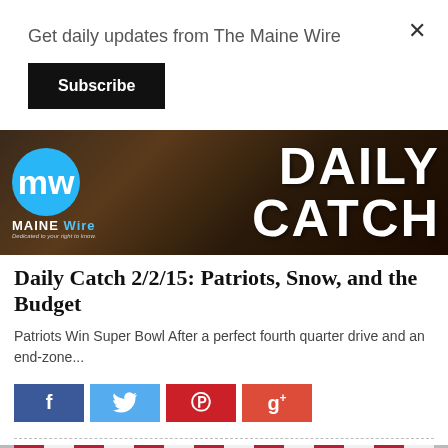Get daily updates from The Maine Wire
Subscribe
[Figure (illustration): Maine Wire Daily Catch banner image with mw logo and bold DAILY CATCH text overlaid on dark background]
Daily Catch 2/2/15: Patriots, Snow, and the Budget
Patriots Win Super Bowl After a perfect fourth quarter drive and an end-zone...
[Figure (other): Social sharing buttons: Facebook (blue), Twitter (light blue), Pinterest (red), Google+ (red-orange)]
[Figure (photo): American flag with red and white stripes at bottom of page]